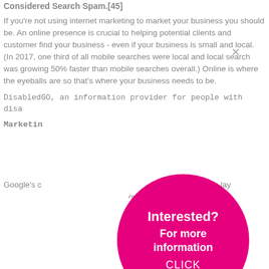Considered Search Spam.[45]
If you're not using internet marketing to market your business you should be. An online presence is crucial to helping potential clients and customer find your business - even if your business is small and local. (In 2017, one third of all mobile searches were local and local search was growing 50% faster than mobile searches overall.) Online is where the eyeballs are so that's where your business needs to be.
DisabledGO, an information provider for people with disa
Marketin
Google's c... oud its data in lay... owever, it is critical to ... internet simply bec... ything else that you do... orms of marketing ... ization (SEO) offe... amounts of traffic on...
[Figure (other): Magenta circular popup overlay with white text reading 'Interested? For more information CLICK']
An entrepren... into when marketing on... attempts to rank your website on search engines "organically", and Search Engine